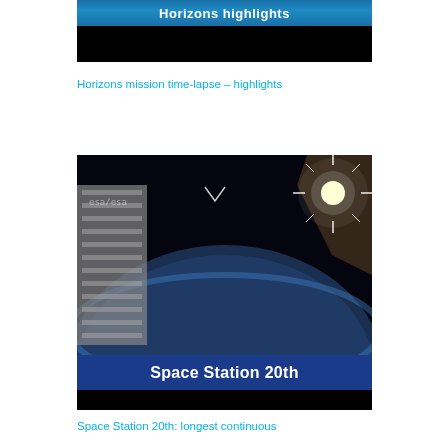[Figure (screenshot): Video thumbnail showing 'Horizons highlights' banner text on blue background over black area]
Horizons mission time-lapse – highlights
[Figure (screenshot): Video thumbnail showing Space Station view of Earth from orbit with sunburst and solar panels, with 'Space Station 20th' banner overlay]
Space Station 20th: longest continuous